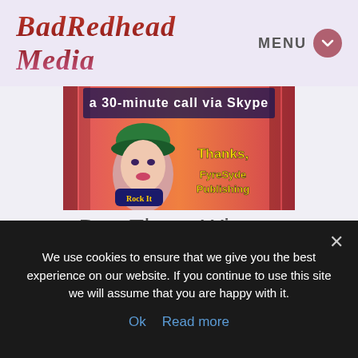BadRedhead Media | MENU
[Figure (illustration): Promotional image for a 30-minute call via Skype with animated redhead character, 'Rock It' mic, yellow text 'Thanks, FyreSyde Publishing' on pink/red background]
Day Three Winner
Fink
A 3,000 word manuscript
We use cookies to ensure that we give you the best experience on our website. If you continue to use this site we will assume that you are happy with it.
Ok   Read more